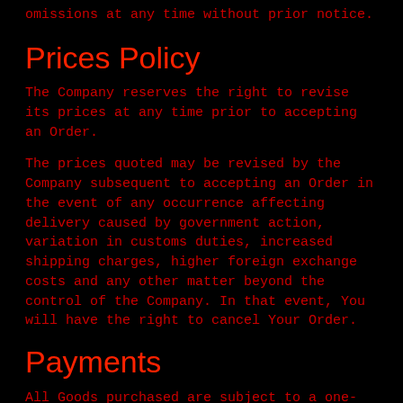omissions at any time without prior notice.
Prices Policy
The Company reserves the right to revise its prices at any time prior to accepting an Order.
The prices quoted may be revised by the Company subsequent to accepting an Order in the event of any occurrence affecting delivery caused by government action, variation in customs duties, increased shipping charges, higher foreign exchange costs and any other matter beyond the control of the Company. In that event, You will have the right to cancel Your Order.
Payments
All Goods purchased are subject to a one-time payment. Payment can be made through various payment methods we have available, such as Visa,